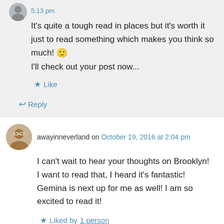5:13 pm
It's quite a tough read in places but it's worth it just to read something which makes you think so much! 🙂 I'll check out your post now...
★ Like
↪ Reply
awayinneverland on October 19, 2016 at 2:04 pm
I can't wait to hear your thoughts on Brooklyn! I want to read that, I heard it's fantastic! Gemina is next up for me as well! I am so excited to read it!
★ Liked by 1 person